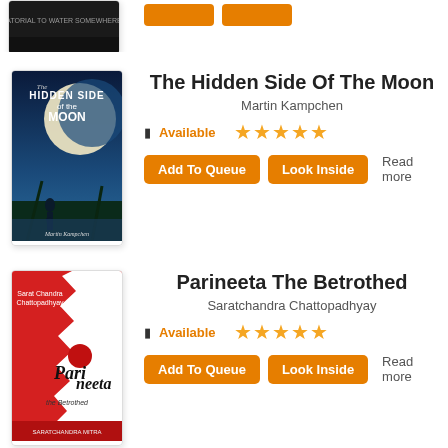[Figure (illustration): Partial book cover at top of page, dark/black cover, partially cropped]
[Figure (illustration): Book cover for 'The Hidden Side of the Moon' by Martin Kampchen, showing a man standing under a large moon with palm trees, blue tones]
The Hidden Side Of The Moon
Martin Kampchen
Available  ★★★★★
Add To Queue  Look Inside  Read more
[Figure (illustration): Book cover for 'Parineeta The Betrothed' by Saratchandra Chattopadhyay, red cover with white decorative element and cursive title]
Parineeta The Betrothed
Saratchandra Chattopadhyay
Available  ★★★★★
Add To Queue  Look Inside  Read more